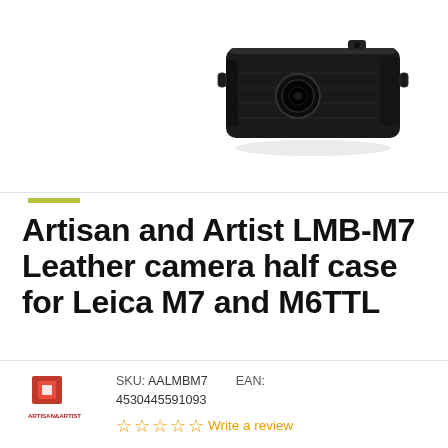[Figure (photo): Black leather Artisan and Artist LMB-M7 camera half case for Leica M7 and M6TTL, shown from front/top angle]
Artisan and Artist LMB-M7 Leather camera half case for Leica M7 and M6TTL
[Figure (logo): Artisan & Artist brand logo — red square icon with brand name text below]
SKU: AALMBM7   EAN: 4530445591093
☆☆☆☆☆ Write a review